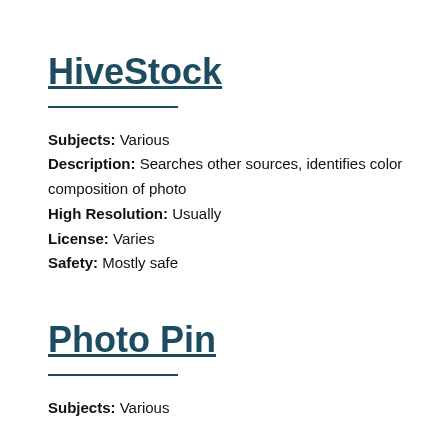HiveStock
Subjects: Various
Description: Searches other sources, identifies color composition of photo
High Resolution: Usually
License: Varies
Safety: Mostly safe
Photo Pin
Subjects: Various